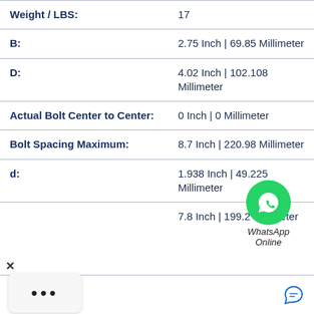| Property | Value |
| --- | --- |
| Weight / LBS: | 17 |
| B: | 2.75 Inch | 69.85 Millimeter |
| D: | 4.02 Inch | 102.108 Millimeter |
| Actual Bolt Center to Center: | 0 Inch | 0 Millimeter |
| Bolt Spacing Maximum: | 8.7 Inch | 220.98 Millimeter |
| d: | 1.938 Inch | 49.225 Millimeter |
|  | 7.8 Inch | 199.2 Millimeter |
[Figure (logo): WhatsApp Online overlay with green phone icon, 'WhatsApp' and 'Online' text in italic]
[Figure (other): Browser close button (X) and loading dots overlay UI element]
Chat now